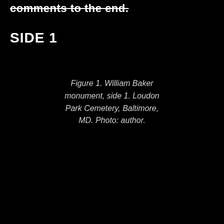comments to the end.
SIDE 1
Figure 1. William Baker monument, side 1. Loudon Park Cemetery, Baltimore, MD. Photo: author.